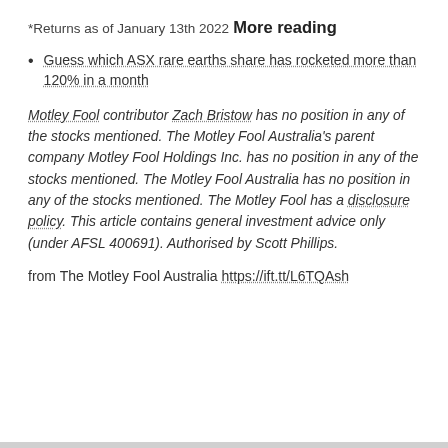*Returns as of January 13th 2022
More reading
Guess which ASX rare earths share has rocketed more than 120% in a month
Motley Fool contributor Zach Bristow has no position in any of the stocks mentioned. The Motley Fool Australia's parent company Motley Fool Holdings Inc. has no position in any of the stocks mentioned. The Motley Fool Australia has no position in any of the stocks mentioned. The Motley Fool has a disclosure policy. This article contains general investment advice only (under AFSL 400691). Authorised by Scott Phillips.
from The Motley Fool Australia https://ift.tt/L6TQAsh